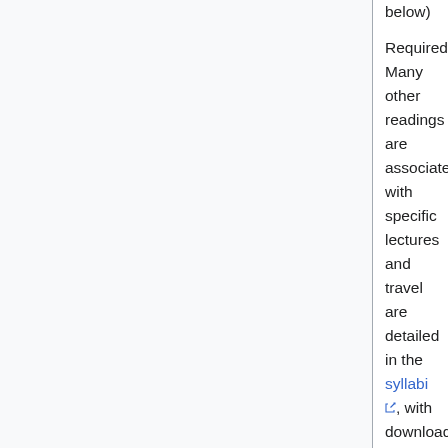below)
Required: Many other readings are associated with specific lectures and travel are detailed in the syllabi, with download links. You should download all of these materials before departing for Ghana, and print if necessary.
Audio
Most students have ipods or the equivalent, and bring them everywhere. Don't leave them at home! In Ghana they'll be really useful, not just for personal entertainment, but for study as well. Load audio tracks into your ipod and you'll be able to listen on the go... Don't forget to download liner notes. Smithsonian Folkways provides all liner notes on their site, free of charge. You can also find liner notes here